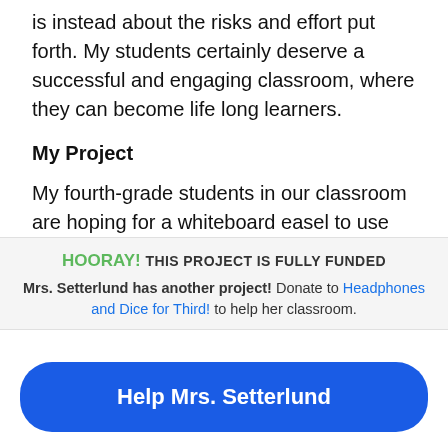is instead about the risks and effort put forth. My students certainly deserve a successful and engaging classroom, where they can become life long learners.
My Project
My fourth-grade students in our classroom are hoping for a whiteboard easel to use daily with in our room. We are hoping to replace our
HOORAY! THIS PROJECT IS FULLY FUNDED
Mrs. Setterlund has another project! Donate to Headphones and Dice for Third! to help her classroom.
Help Mrs. Setterlund